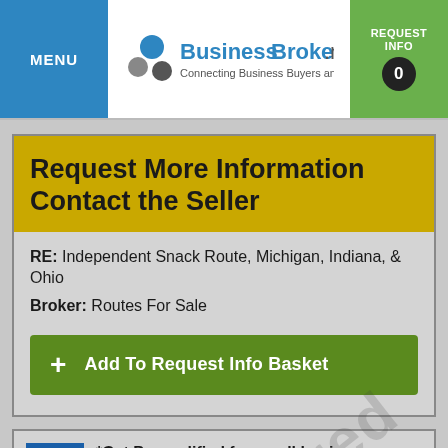MENU | BusinessBroker.net Connecting Business Buyers and Sellers | REQUEST INFO 0
Request More Information Contact the Seller
RE: Independent Snack Route, Michigan, Indiana, & Ohio
Broker: Routes For Sale
+ Add To Request Info Basket
*Get Prequalified for small business financing from Guidant Financial.